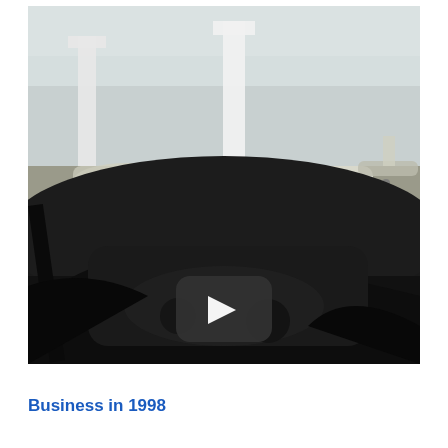[Figure (screenshot): Video thumbnail showing an airport tarmac scene viewed from inside a vehicle cockpit. The foreground shows the dark interior of a vehicle/aircraft cabin. In the background, several aircraft are parked on the tarmac under a hazy sky. A YouTube-style play button overlay (dark rounded rectangle with white triangle) is centered on the image.]
Business in 1998